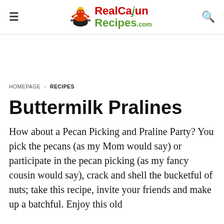RealCajunRecipes.com
HOMEPAGE > RECIPES
Buttermilk Pralines
How about a Pecan Picking and Praline Party? You pick the pecans (as my Mom would say) or participate in the pecan picking (as my fancy cousin would say), crack and shell the bucketful of nuts; take this recipe, invite your friends and make up a batchful. Enjoy this old